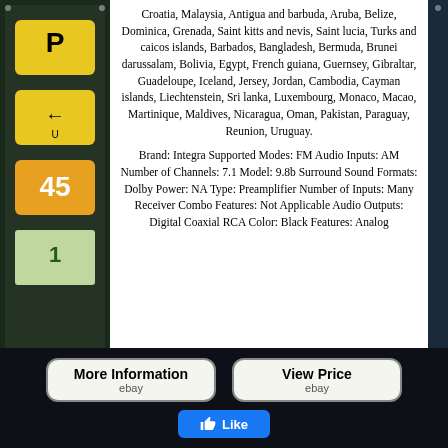Croatia, Malaysia, Antigua and barbuda, Aruba, Belize, Dominica, Grenada, Saint kitts and nevis, Saint lucia, Turks and caicos islands, Barbados, Bangladesh, Bermuda, Brunei darussalam, Bolivia, Egypt, French guiana, Guernsey, Gibraltar, Guadeloupe, Iceland, Jersey, Jordan, Cambodia, Cayman islands, Liechtenstein, Sri lanka, Luxembourg, Monaco, Macao, Martinique, Maldives, Nicaragua, Oman, Pakistan, Paraguay, Reunion, Uruguay.
Brand: Integra Supported Modes: FM Audio Inputs: AM Number of Channels: 7.1 Model: 9.8b Surround Sound Formats: Dolby Power: NA Type: Preamplifier Number of Inputs: Many Receiver Combo Features: Not Applicable Audio Outputs: Digital Coaxial RCA Color: Black Features: Analog
[Figure (screenshot): Two eBay listing buttons: 'More Information' and 'View Price', and a Facebook Like button below them]